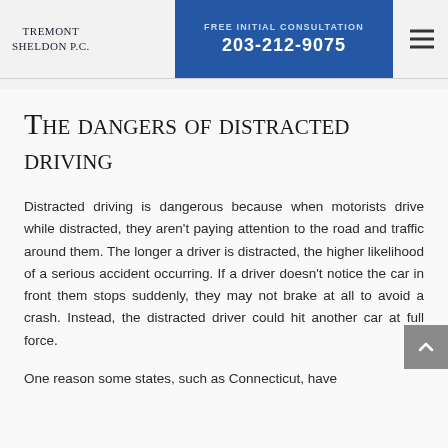TREMONT SHELDON P.C. | FREE INITIAL CONSULTATION | 203-212-9075
The dangers of distracted driving
Distracted driving is dangerous because when motorists drive while distracted, they aren't paying attention to the road and traffic around them. The longer a driver is distracted, the higher likelihood of a serious accident occurring. If a driver doesn't notice the car in front them stops suddenly, they may not brake at all to avoid a crash. Instead, the distracted driver could hit another car at full force.
One reason some states, such as Connecticut, have